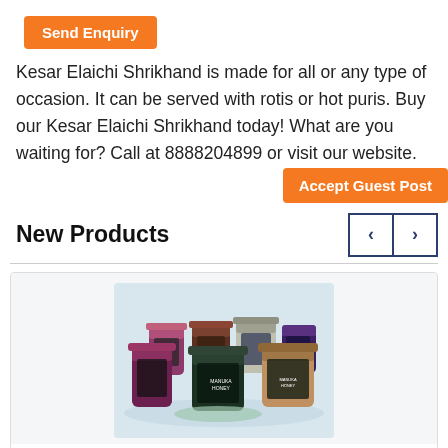[Figure (other): Send Enquiry orange button at top]
Kesar Elaichi Shrikhand is made for all or any type of occasion. It can be served with rotis or hot puris. Buy our Kesar Elaichi Shrikhand today! What are you waiting for? Call at 8888204899 or visit our website.
[Figure (other): Accept Guest Post orange button]
New Products
[Figure (photo): Product image showing multiple Biosota Organics honey jars arranged on a surface]
Biosota Organics
Biosota,biosota organics,biosota manuka honey,biosota manuka,biosota honey,manuka